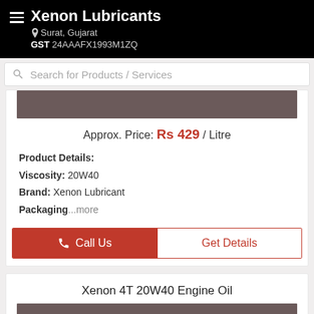Xenon Lubricants | Surat, Gujarat | GST 24AAAFX1993M1ZQ
Search for Products / Services
[Figure (photo): Product image placeholder (dark brownish-grey rectangle)]
Approx. Price: Rs 429 / Litre
Product Details:
Viscosity: 20W40
Brand: Xenon Lubricant
Packaging...more
Call Us
Get Details
Xenon 4T 20W40 Engine Oil
[Figure (photo): Product image placeholder (dark brownish-grey rectangle)]